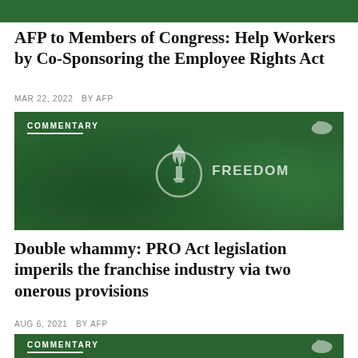[Figure (photo): Green tinted background strip at top of page]
AFP to Members of Congress: Help Workers by Co-Sponsoring the Employee Rights Act
MAR 22, 2022 BY AFP
[Figure (photo): Commentary banner image with green tint, torch and circle watermark logo in center, FREEDOM text visible, COMMENTARY label top left, US map icon top right]
Double whammy: PRO Act legislation imperils the franchise industry via two onerous provisions
AUG 6, 2021 BY AFP
[Figure (photo): Partial commentary banner image with green tint, COMMENTARY label top left, US map icon top right]